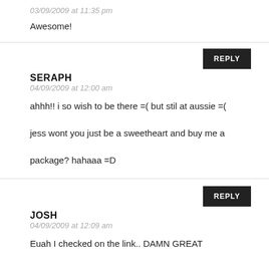03/09/2009 at 11:35 pm
Awesome!
REPLY
SERAPH
04/09/2009 at 12:00 am
ahhh!! i so wish to be there =( but stil at aussie =( jess wont you just be a sweetheart and buy me a package? hahaaa =D
REPLY
JOSH
04/09/2009 at 12:09 am
Euah I checked on the link.. DAMN GREAT